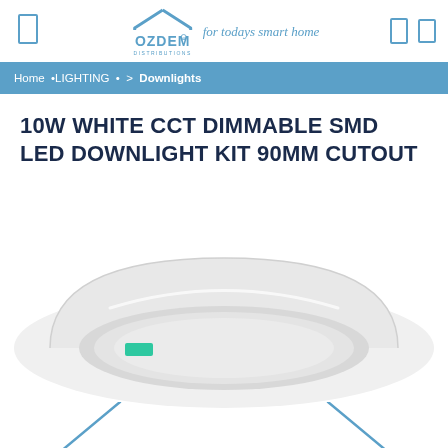[Figure (logo): OZDEM Distributions logo with house/rooftop icon and tagline 'for todays smart home']
Home • LIGHTING • > Downlights
10W WHITE CCT DIMMABLE SMD LED DOWNLIGHT KIT 90MM CUTOUT
[Figure (photo): Top-down view of a white circular LED downlight with a small green cable connector visible, shown partially cropped at bottom of page]